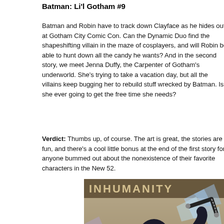Batman: Li'l Gotham #9
Batman and Robin have to track down Clayface as he hides out at Gotham City Comic Con. Can the Dynamic Duo find the shapeshifting villain in the maze of cosplayers, and will Robin be able to hunt down all the candy he wants? And in the second story, we meet Jenna Duffy, the Carpenter of Gotham's underworld. She's trying to take a vacation day, but all the villains keep bugging her to rebuild stuff wrecked by Batman. Is she ever going to get the free time she needs?
Verdict: Thumbs up, of course. The art is great, the stories are fun, and there's a cool little bonus at the end of the first story for anyone bummed out about the nonexistence of their favorite characters in the New 52.
[Figure (illustration): Comic book cover image for INHUMANITY showing a superhero in black and gold armor holding a weapon with chains, breaking through glass or debris, with the title INHUMANITY at the top]